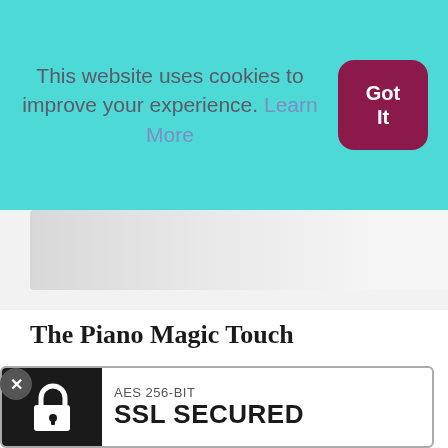This website uses cookies to improve your experience. Learn More
Got It
[Figure (illustration): Partial book cover thumbnail, grayed out]
The Piano Magic Touch
eBook
$67.00
Add to cart
[Figure (logo): AES 256-BIT SSL SECURED badge with padlock icon]